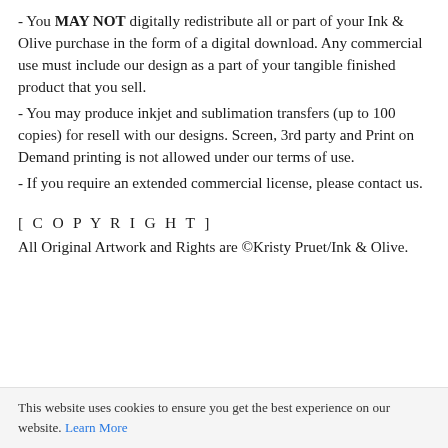- You MAY NOT digitally redistribute all or part of your Ink & Olive purchase in the form of a digital download. Any commercial use must include our design as a part of your tangible finished product that you sell.
- You may produce inkjet and sublimation transfers (up to 100 copies) for resell with our designs. Screen, 3rd party and Print on Demand printing is not allowed under our terms of use.
- If you require an extended commercial license, please contact us.
[ C O P Y R I G H T ]
All Original Artwork and Rights are ©Kristy Pruet/Ink & Olive.
This website uses cookies to ensure you get the best experience on our website. Learn More